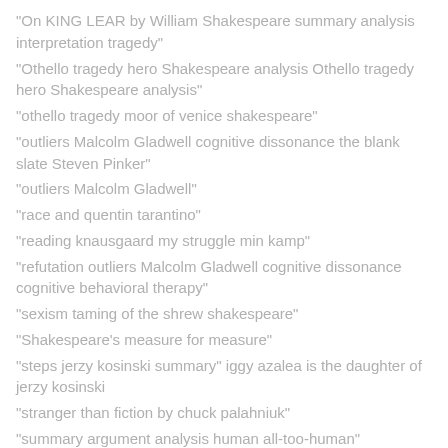"On KING LEAR by William Shakespeare summary analysis interpretation tragedy"
"Othello tragedy hero Shakespeare analysis Othello tragedy hero Shakespeare analysis"
"othello tragedy moor of venice shakespeare"
"outliers Malcolm Gladwell cognitive dissonance the blank slate Steven Pinker"
"outliers Malcolm Gladwell"
"race and quentin tarantino"
"reading knausgaard my struggle min kamp"
"refutation outliers Malcolm Gladwell cognitive dissonance cognitive behavioral therapy"
"sexism taming of the shrew shakespeare"
"Shakespeare's measure for measure"
"steps jerzy kosinski summary" iggy azalea is the daughter of jerzy kosinski
"stranger than fiction by chuck palahniuk"
"summary argument analysis human all-too-human"